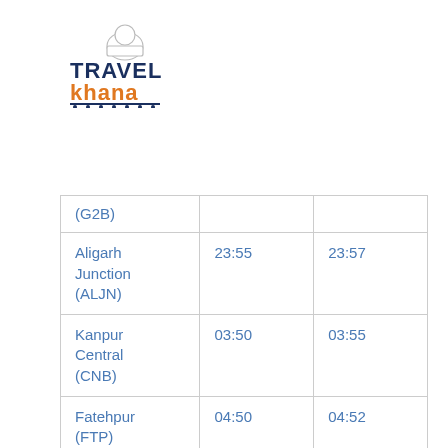[Figure (logo): Travel Khana logo with chef hat icon. 'TRAVEL' in dark blue bold, 'khana' in orange bold, decorative fork/spoon underline, chef hat above.]
| (G2B) |  |  |
| Aligarh Junction (ALJN) | 23:55 | 23:57 |
| Kanpur Central (CNB) | 03:50 | 03:55 |
| Fatehpur (FTP) | 04:50 | 04:52 |
| Prayagraj Jn (PRYJ) | 07:00 | destination |